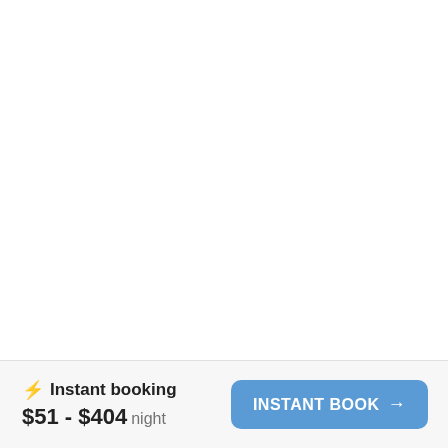⚡ Instant booking
$51 - $404 night
INSTANT BOOK →